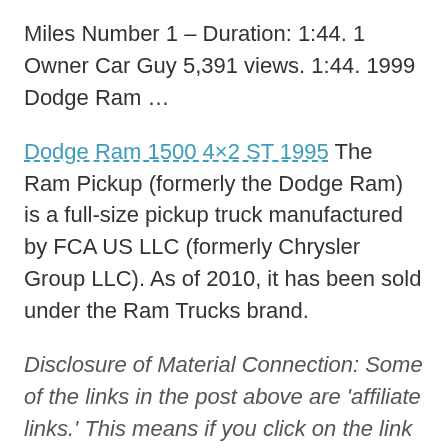Miles Number 1 – Duration: 1:44. 1 Owner Car Guy 5,391 views. 1:44. 1999 Dodge Ram …
Dodge Ram 1500 4×2 ST 1995 The Ram Pickup (formerly the Dodge Ram) is a full-size pickup truck manufactured by FCA US LLC (formerly Chrysler Group LLC). As of 2010, it has been sold under the Ram Trucks brand.
Disclosure of Material Connection: Some of the links in the post above are 'affiliate links.' This means if you click on the link and purchase the item, we will receive an affiliate commission. We are disclosing this in accordance with the Federal Trade Commissions 16 CFR, Part 255: 'Guides Concerning the Use of Endorsements and